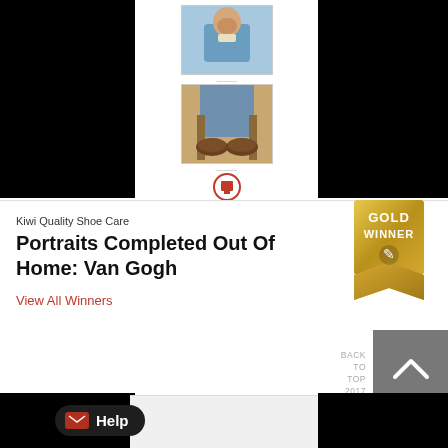[Figure (photo): Two Van Gogh painting thumbnails (portrait bust and lower body with shoes) centered at top, with a red circular logo below]
Kiwi Quality Shoe Care
Portraits Completed Out Of Home: Van Gogh
View All Winners
[Figure (illustration): Gold Winner badge/ribbon award icon]
[Figure (infographic): Back to top arrow button (grey square with upward chevron), labelled BACK TO TOP 2017]
[Figure (illustration): Help button with envelope icon]